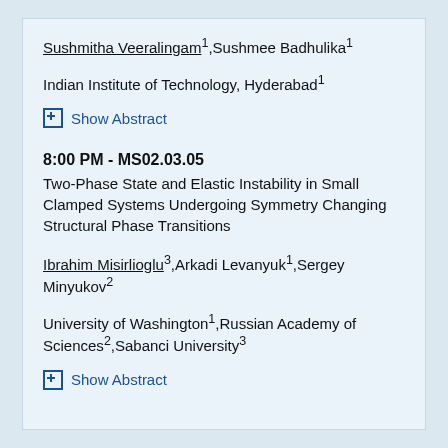Sushmitha Veeralingam¹,Sushmee Badhulika¹
Indian Institute of Technology, Hyderabad¹
⊞ Show Abstract
8:00 PM - MS02.03.05
Two-Phase State and Elastic Instability in Small Clamped Systems Undergoing Symmetry Changing Structural Phase Transitions
Ibrahim Misirlioglu³,Arkadi Levanyuk¹,Sergey Minyukov²
University of Washington¹,Russian Academy of Sciences²,Sabanci University³
⊞ Show Abstract